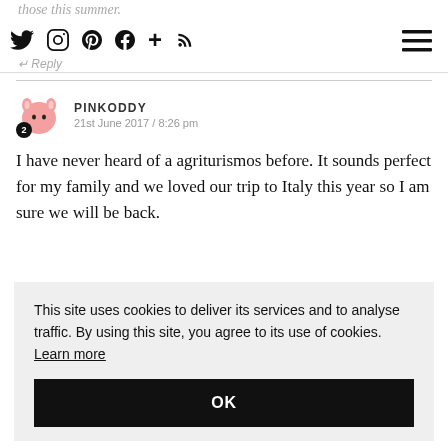those this summer. [social icons: Twitter, Instagram, Pinterest, Facebook, Plus, RSS] [hamburger menu] ↵ Reply
PINKODDY
21st June 2017 / 8:26 pm

I have never heard of a agriturismos before. It sounds perfect for my family and we loved our trip to Italy this year so I am sure we will be back.
This site uses cookies to deliver its services and to analyse traffic. By using this site, you agree to its use of cookies. Learn more

OK